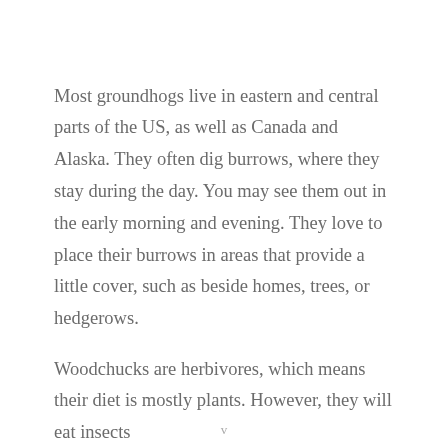Most groundhogs live in eastern and central parts of the US, as well as Canada and Alaska. They often dig burrows, where they stay during the day. You may see them out in the early morning and evening. They love to place their burrows in areas that provide a little cover, such as beside homes, trees, or hedgerows.
Woodchucks are herbivores, which means their diet is mostly plants. However, they will eat insects
v